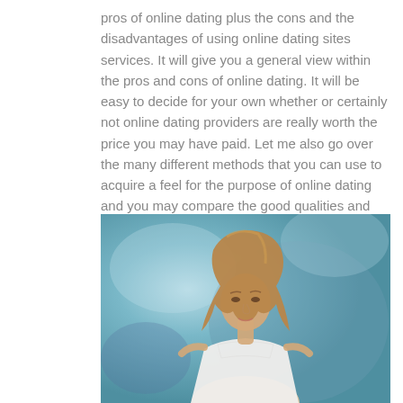pros of online dating plus the cons and the disadvantages of using online dating sites services. It will give you a general view within the pros and cons of online dating. It will be easy to decide for your own whether or certainly not online dating providers are really worth the price you may have paid. Let me also go over the many different methods that you can use to acquire a feel for the purpose of online dating and you may compare the good qualities and downsides of all of ways so that you can make an prepared decision.
[Figure (photo): A woman with long blonde/brown hair wearing a white lace sleeveless dress, photographed against a blue-teal painted background.]